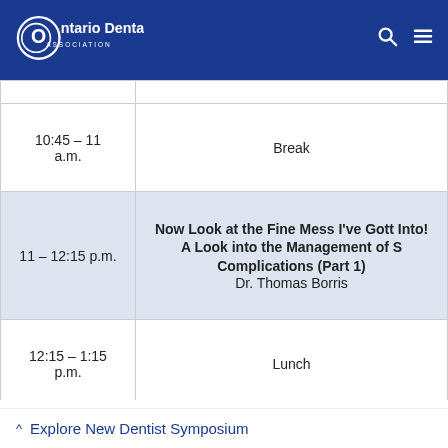[Figure (logo): Ontario Dental Association logo — white oval/circle graphic with text 'Ontario Dental ASSOCIATION' on blue background]
| Time | Event |
| --- | --- |
| 10:45 – 11 a.m. | Break |
| 11 – 12:15 p.m. | Now Look at the Fine Mess I've Gott Into!
A Look into the Management of S Complications (Part 1)
Dr. Thomas Borris |
| 12:15 – 1:15 p.m. | Lunch |
|  | Now Look at the Fine Mess I've Gott Into! |
^ Explore New Dentist Symposium